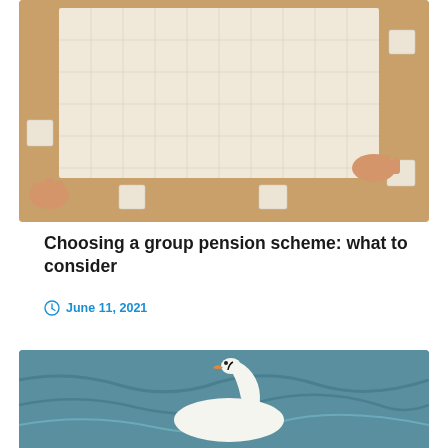[Figure (photo): Overhead view of hands assembling a jigsaw puzzle on a wooden table. Puzzle pieces scattered around a partially completed white puzzle.]
Choosing a group pension scheme: what to consider
June 11, 2021
[Figure (photo): A white swan swimming on blue-grey rippling water.]